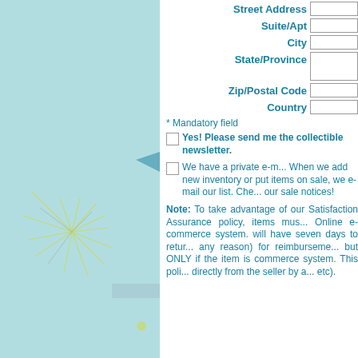[Figure (illustration): Light blue decorative left panel with starburst/sunburst line pattern and small decorative arrow elements on right edge]
Street Address
Suite/Apt
City
State/Province
Zip/Postal Code
Country
* Mandatory field
Yes! Please send me the collectible newsletter.
We have a private e-m... When we add new inventory or put items on sale, we e-mail our list. Check here to receive our sale notices!
Note: To take advantage of our Satisfaction Assurance policy, items must be purchased via our Online e-commerce system. You will have seven days to return any item (for any reason) for reimbursement of the purchase price, but ONLY if the item is purchased via our e-commerce system. This policy does not apply to items purchased directly from the seller by any other means (phone, email, etc).